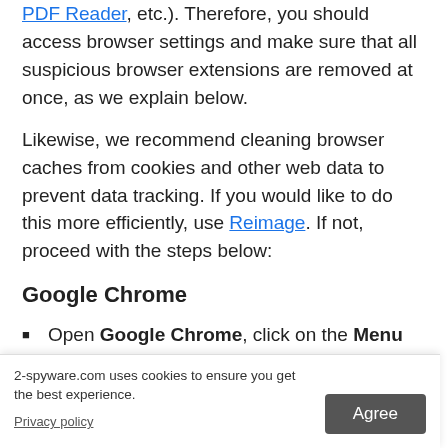PDF Reader, etc.). Therefore, you should access browser settings and make sure that all suspicious browser extensions are removed at once, as we explain below.
Likewise, we recommend cleaning browser caches from cookies and other web data to prevent data tracking. If you would like to do this more efficiently, use Reimage. If not, proceed with the steps below:
Google Chrome
Open Google Chrome, click on the Menu (three vertical dots at the top-right corner) and select More tools > Extensions.
In the newly opened window, you will see all the installed extensions that might be ... Remove.
2-spyware.com uses cookies to ensure you get the best experience.
Privacy policy     Agree